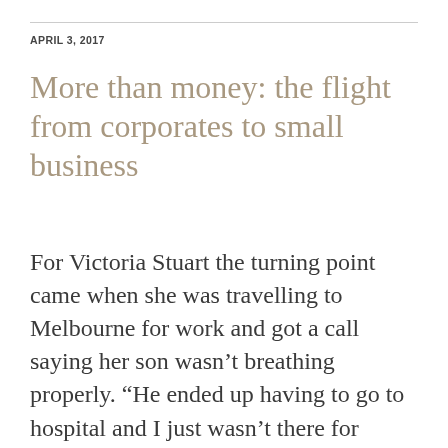APRIL 3, 2017
More than money: the flight from corporates to small business
For Victoria Stuart the turning point came when she was travelling to Melbourne for work and got a call saying her son wasn’t breathing properly. “He ended up having to go to hospital and I just wasn’t there for him,”